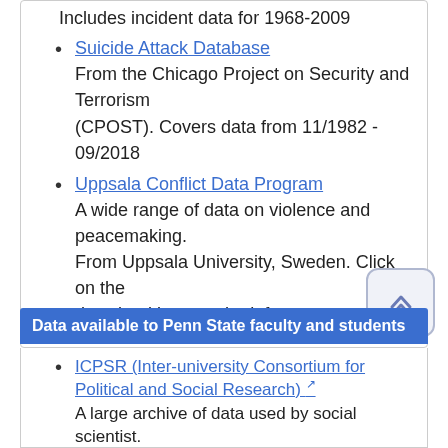Includes incident data for 1968-2009
Suicide Attack Database — From the Chicago Project on Security and Terrorism (CPOST). Covers data from 11/1982 - 09/2018
Uppsala Conflict Data Program — A wide range of data on violence and peacemaking. From Uppsala University, Sweden. Click on the download icon on the left.
Data available to Penn State faculty and students
ICPSR (Inter-university Consortium for Political and Social Research) — A large archive of data used by social scientist. Includes numerous data sets on terrorism and armed conflicts. Penn State users must register to download the data.
more...